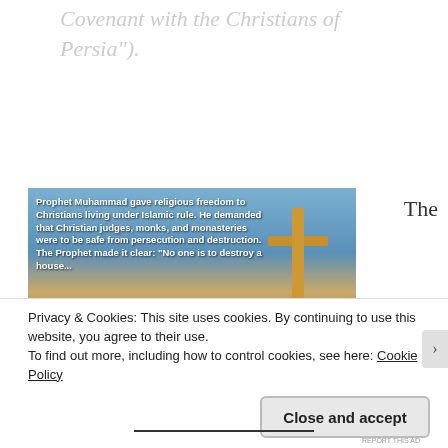Covenant with the Christians of Persia").
The
[Figure (photo): A photo showing a wooden cross against a blue sky background, with bold white text overlay reading: 'Prophet Muhammad gave religious freedom to Christians living under Islamic rule. He demanded that Christian judges, monks, and monasteries were to be safe from persecution and destruction. The Prophet made it clear: "No one is to destroy a house...']
Privacy & Cookies: This site uses cookies. By continuing to use this website, you agree to their use.
To find out more, including how to control cookies, see here: Cookie Policy
Close and accept